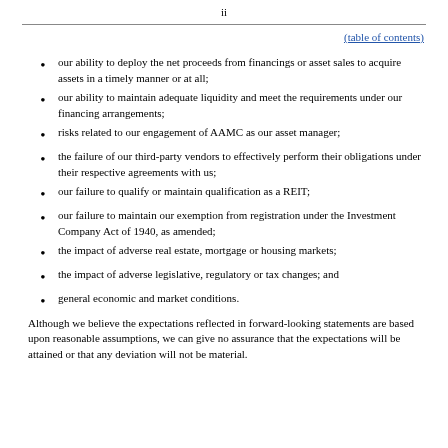ii
(table of contents)
our ability to deploy the net proceeds from financings or asset sales to acquire assets in a timely manner or at all;
our ability to maintain adequate liquidity and meet the requirements under our financing arrangements;
risks related to our engagement of AAMC as our asset manager;
the failure of our third-party vendors to effectively perform their obligations under their respective agreements with us;
our failure to qualify or maintain qualification as a REIT;
our failure to maintain our exemption from registration under the Investment Company Act of 1940, as amended;
the impact of adverse real estate, mortgage or housing markets;
the impact of adverse legislative, regulatory or tax changes; and
general economic and market conditions.
Although we believe the expectations reflected in forward-looking statements are based upon reasonable assumptions, we can give no assurance that the expectations will be attained or that any deviation will not be material.